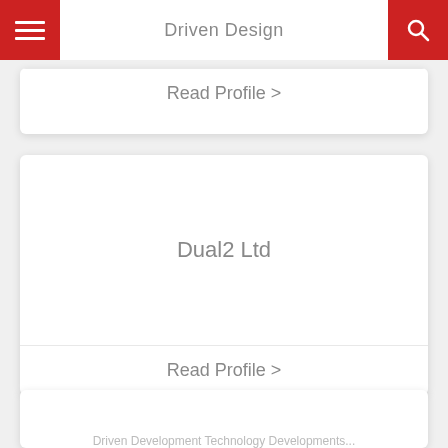Driven Design
Read Profile >
Dual2 Ltd
Read Profile >
Driven Development Technology Developments...